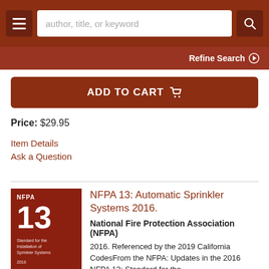author, title, or keyword | Refine Search
ADD TO CART
Price: $29.95
Item Details
Ask a Question
[Figure (illustration): Book cover: NFPA 13, Standard for the Installation of Sprinkler Systems, 2016, red cover]
NFPA 13: Automatic Sprinkler Systems 2016.
National Fire Protection Association (NFPA)
2016. Referenced by the 2019 California CodesFrom the NFPA: Updates in the 2016 NFPA 13: Standard for the...